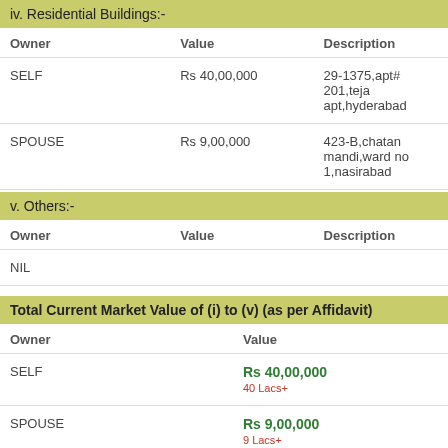iv. Residential Buildings:-
| Owner | Value | Description |
| --- | --- | --- |
| SELF | Rs 40,00,000 | 29-1375,apt# 201,teja apt,hyderabad |
| SPOUSE | Rs 9,00,000 | 423-B,chatan mandi,ward no 1,nasirabad |
v. Others:-
| Owner | Value | Description |
| --- | --- | --- |
| NIL |  |  |
Total Current Market Value of (i) to (v) (as per Affidavit)
| Owner | Value |
| --- | --- |
| SELF | Rs 40,00,000
40 Lacs+ |
| SPOUSE | Rs 9,00,000
9 Lacs+ |